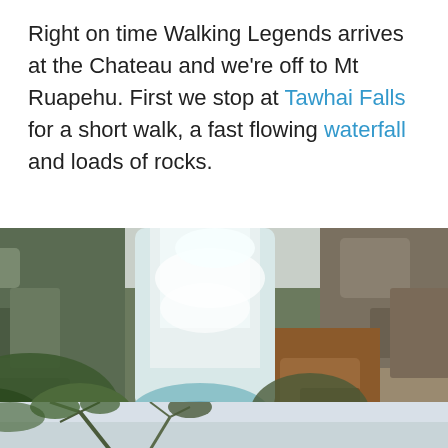Right on time Walking Legends arrives at the Chateau and we're off to Mt Ruapehu. First we stop at Tawhai Falls for a short walk, a fast flowing waterfall and loads of rocks.
[Figure (photo): A fast-flowing waterfall cascading down rocky cliffs surrounded by green vegetation and brown rocky terrain. The waterfall is white and turbulent, falling into a pool below.]
[Figure (photo): A partial view of trees with bare branches against a pale misty sky, appearing to be a second photo partially visible at the bottom of the page.]